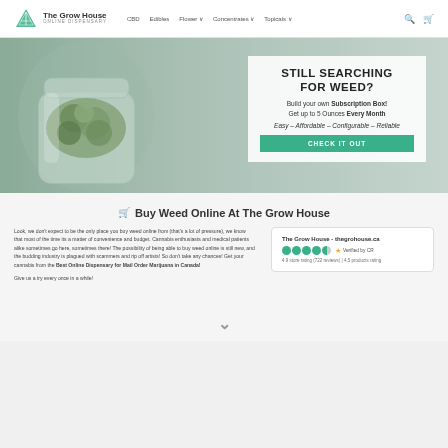[Figure (screenshot): The Grow House online dispensary website screenshot showing navigation bar with logo, hero banner with subscription box offer, and content section below]
Buy Weed Online At The Grow House
Look, we don't expect to be the only place you buy weed online from (that's a lot of pressure), we know that most of the time its a matter of convenience and budget. Cannabis enthusiasts and medical patients alike sometimes go here, sometimes there! The possibility of being able to buy weed online is still new, and the budding industry is plagued with scammers and rip off artists! So don't take any chances! Get your cannabis from the Best Online Dispensary for Mail Order Marijuana in Canada!
Give us a try every once in a while!